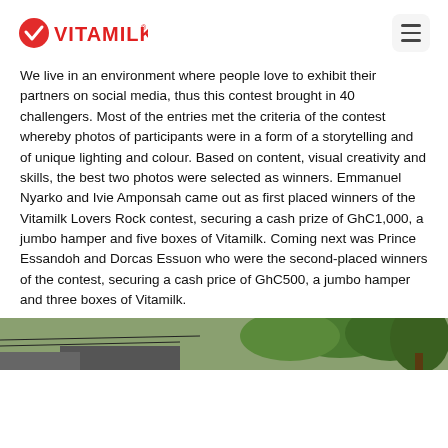VITAMILK
We live in an environment where people love to exhibit their partners on social media, thus this contest brought in 40 challengers. Most of the entries met the criteria of the contest whereby photos of participants were in a form of a storytelling and of unique lighting and colour. Based on content, visual creativity and skills, the best two photos were selected as winners. Emmanuel Nyarko and Ivie Amponsah came out as first placed winners of the Vitamilk Lovers Rock contest, securing a cash prize of GhC1,000, a jumbo hamper and five boxes of Vitamilk. Coming next was Prince Essandoh and Dorcas Essuon who were the second-placed winners of the contest, securing a cash price of GhC500, a jumbo hamper and three boxes of Vitamilk.
[Figure (photo): Outdoor photo showing trees and rooftop scenery]